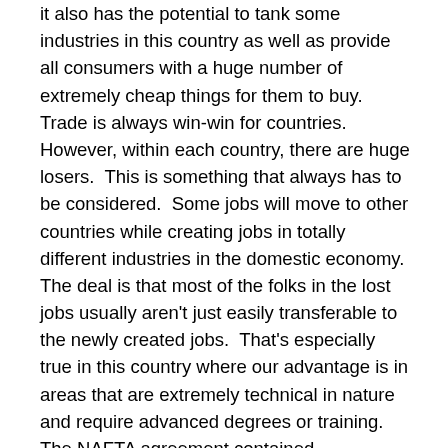it also has the potential to tank some industries in this country as well as provide all consumers with a huge number of extremely cheap things for them to buy.  Trade is always win-win for countries.  However, within each country, there are huge losers.  This is something that always has to be considered.  Some jobs will move to other countries while creating jobs in totally different industries in the domestic economy.  The deal is that most of the folks in the lost jobs usually aren't just easily transferable to the newly created jobs.  That's especially true in this country where our advantage is in areas that are extremely technical in nature and require advanced degrees or training.  The NAFTA agreement contained “adjustment assistance” to help such workers.  An example of what it did was train a lot of Ladies Garment Workers in the South in the Health Care Field.  In many cases, the jobs weren't all that equal but at least there was